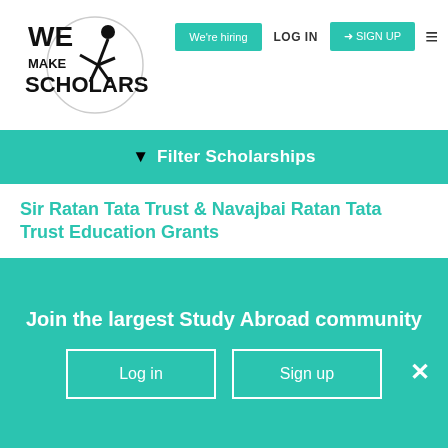We Make Scholars | We're hiring | LOG IN | SIGN UP
Filter Scholarships
Sir Ratan Tata Trust & Navajbai Ratan Tata Trust Education Grants
Masters, PhD, Conferences & Travel Grants
Partial Funding
Any field of study
Open to applicants of India
Join the largest Study Abroad community
Log in
Sign up